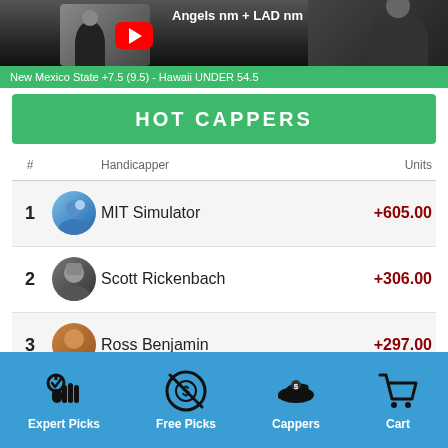[Figure (screenshot): Top banner showing video thumbnail with person, YouTube play button, and text 'Angels nm + LAD nm']
New Mexico State +7.5 (9.5) - Hawaii UNDER 54.5
HOT CAPPERS
| # | Handicapper | Units |
| --- | --- | --- |
| 1 | MIT Simulator | +605.00 |
| 2 | Scott Rickenbach | +306.00 |
| 3 | Ross Benjamin | +297.00 |
| 4 | Easy Eddie | +263.00 |
| 5 | Cameron Ross | +246.00 |
[Figure (infographic): Bottom navigation bar with icons: Expert Picks (OK hand), Free Picks (no money sign), Cappers (cap with dollar sign), Cart (shopping cart)]